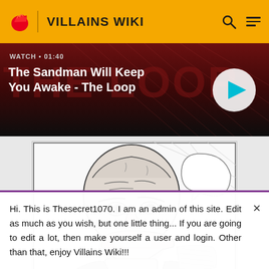VILLAINS WIKI
[Figure (screenshot): Video banner with text 'WATCH • 01:40' and title 'The Sandman Will Keep You Awake - The Loop' with a play button on the right]
[Figure (illustration): Manga-style pencil sketch of a large bald angry-looking man with a beard stub, wide jaw, grimacing expression, in a comic panel style]
Hi. This is Thesecret1070. I am an admin of this site. Edit as much as you wish, but one little thing... If you are going to edit a lot, then make yourself a user and login. Other than that, enjoy Villains Wiki!!!